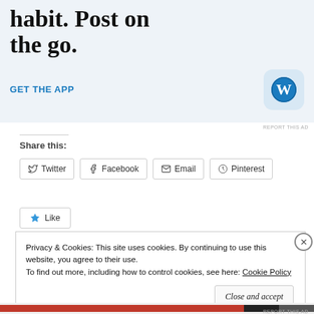[Figure (other): WordPress app advertisement banner showing partial headline 'habit. Post on the go.' with a 'GET THE APP' link and WordPress logo icon, on a light blue background]
REPORT THIS AD
Share this:
Twitter
Facebook
Email
Pinterest
Like
Privacy & Cookies: This site uses cookies. By continuing to use this website, you agree to their use.
To find out more, including how to control cookies, see here: Cookie Policy
Close and accept
REPORT THIS AD